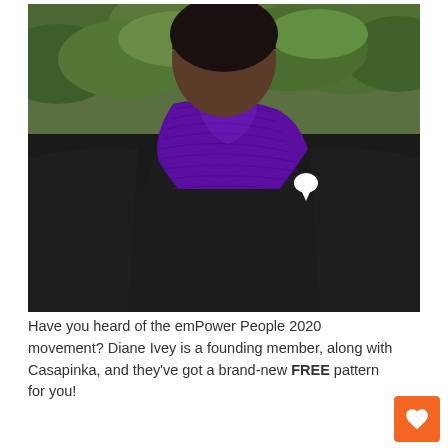[Figure (photo): A person wearing a black t-shirt with a purple knitted triangular scarf/shawl draped around their neck. There is a white speech bubble pin/brooch on the shirt. The background shows green foliage. The photo is cropped to show the torso and neck area.]
Have you heard of the emPower People 2020 movement? Diane Ivey is a founding member, along with Casapinka, and they've got a brand-new FREE pattern for you!